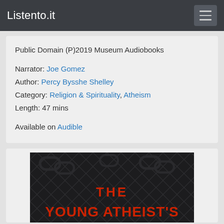Listento.it
Public Domain (P)2019 Museum Audiobooks

Narrator: Joe Gomez
Author: Percy Bysshe Shelley
Category: Religion & Spirituality, Atheism
Length: 47 mins

Available on Audible
[Figure (illustration): Book cover for 'The Young Atheist's' — dark background with a diamond/crosshatch pattern in dark gray, bold red text reading 'THE' and 'YOUNG ATHEIST'S' at the bottom.]